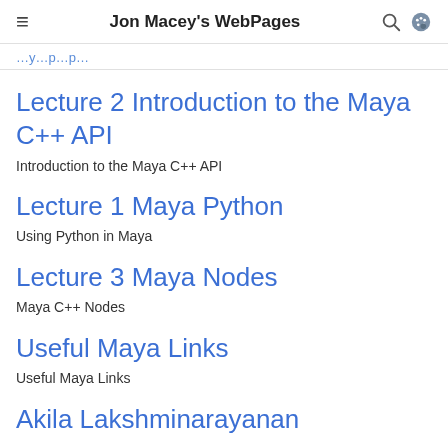Jon Macey's WebPages
… y … p … p …
Lecture 2 Introduction to the Maya C++ API
Introduction to the Maya C++ API
Lecture 1 Maya Python
Using Python in Maya
Lecture 3 Maya Nodes
Maya C++ Nodes
Useful Maya Links
Useful Maya Links
Akila Lakshminarayanan